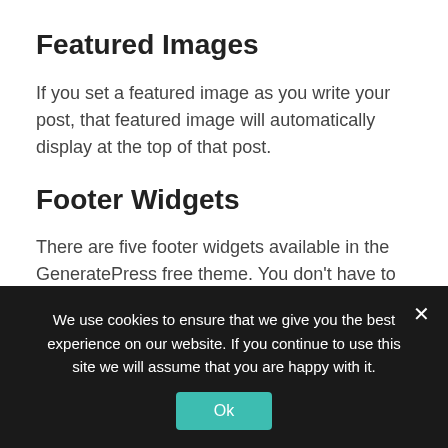Featured Images
If you set a featured image as you write your post, that featured image will automatically display at the top of that post.
Footer Widgets
There are five footer widgets available in the GeneratePress free theme. You don’t have to use all five. However, make sure you start at the beginning when adding widgets to the footer widget area. Especially if you’re only using two
We use cookies to ensure that we give you the best experience on our website. If you continue to use this site we will assume that you are happy with it.